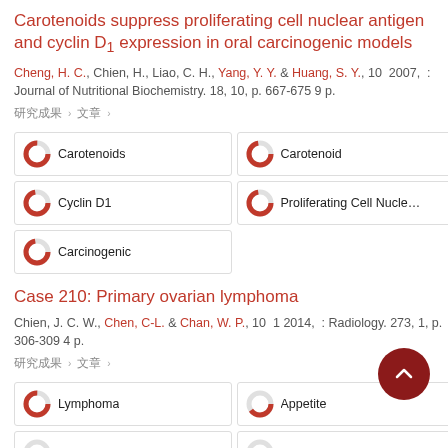Carotenoids suppress proliferating cell nuclear antigen and cyclin D1 expression in oral carcinogenic models
Cheng, H. C., Chien, H., Liao, C. H., Yang, Y. Y. & Huang, S. Y., 10 2007, : Journal of Nutritional Biochemistry. 18, 10, p. 667-675 9 p.
研究成果: 期刊貢獻 › 文章
[Figure (infographic): Fingerprint keyword badges with donut chart icons: Carotenoids 100%, Carotenoid 97%, Cyclin D1 97%, Proliferating Cell Nuclear Antigen 97%, Carcinogenic 97%]
Case 210: Primary ovarian lymphoma
Chien, J. C. W., Chen, C-L. & Chan, W. P., 10 1 2014, : Radiology. 273, 1, p. 306-309 4 p.
研究成果: 期刊貢獻 › 文章
[Figure (infographic): Fingerprint keyword badges: Lymphoma 100%, Appetite 65%, Leukocyte Count (partial), Nausea (partial)]